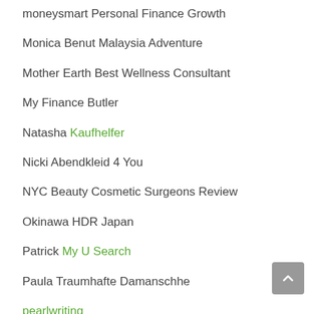moneysmart Personal Finance Growth
Monica Benut Malaysia Adventure
Mother Earth Best Wellness Consultant
My Finance Butler
Natasha Kaufhelfer
Nicki Abendkleid 4 You
NYC Beauty Cosmetic Surgeons Review
Okinawa HDR Japan
Patrick My U Search
Paula Traumhafte Damanschhe
pearlwriting
Peter All About Car Hire